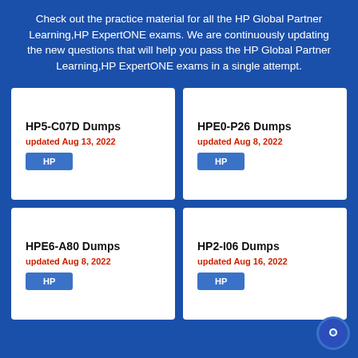Check out the practice material for all the HP Global Partner Learning,HP ExpertONE exams. We are continuously updating the new questions that will help you pass the HP Global Partner Learning,HP ExpertONE exams in a single attempt.
HP5-C07D Dumps
updated Aug 13, 2022
HP
HPE0-P26 Dumps
updated Aug 8, 2022
HP
HPE6-A80 Dumps
updated Aug 8, 2022
HP
HP2-I06 Dumps
updated Aug 16, 2022
HP